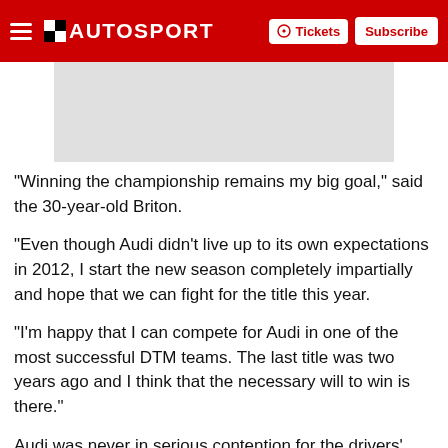AUTOSPORT | Tickets | Subscribe
[Figure (photo): Gray placeholder image at top of article]
"Winning the championship remains my big goal," said the 30-year-old Briton.
"Even though Audi didn't live up to its own expectations in 2012, I start the new season completely impartially and hope that we can fight for the title this year.
"I'm happy that I can compete for Audi in one of the most successful DTM teams. The last title was two years ago and I think that the necessary will to win is there."
Audi was never in serious contention for the drivers' crown last year. Team Rosberg's Edoardo Mortara its